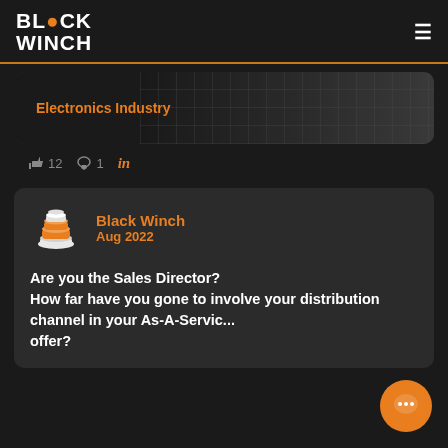BLACK WINCH
[Figure (photo): Dark banner image with text 'Electronics Industry' in orange, showing a grid/circuit board background]
👍 12  💬 1  in
[Figure (logo): Black Winch logo icon (stacked disc shape in orange/white)]
Black Winch
Aug 2022
Are you the Sales Director?
How far have you gone to involve your distribution channel in your As-A-Service offer?